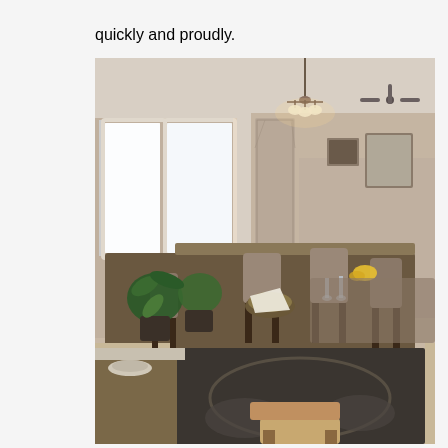quickly and proudly.
[Figure (photo): Interior photo of an open-plan dining room. A long dark wood dining table with upholstered chairs sits on a patterned rug. A chandelier hangs above. Large windows on the left let in bright light. Green potted plants are near the windows. A kitchen island with a marble countertop is in the foreground. A stool is visible at the bottom. Beyond the dining area is a living room with a mirror and framed art on the walls.]